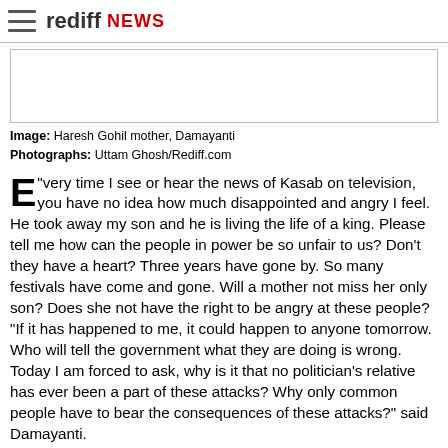rediff NEWS
[Figure (photo): Placeholder image area for a photograph]
Image: Haresh Gohil mother, Damayanti
Photographs: Uttam Ghosh/Rediff.com
"Every time I see or hear the news of Kasab on television, you have no idea how much disappointed and angry I feel. He took away my son and he is living the life of a king. Please tell me how can the people in power be so unfair to us? Don't they have a heart? Three years have gone by. So many festivals have come and gone. Will a mother not miss her only son? Does she not have the right to be angry at these people?
"If it has happened to me, it could happen to anyone tomorrow. Who will tell the government what they are doing is wrong. Today I am forced to ask, why is it that no politician's relative has ever been a part of these attacks? Why only common people have to bear the consequences of these attacks?" said Damayanti.
Her questions refuse to cease just like her tears. As for the answers she seeks, only time will tell.